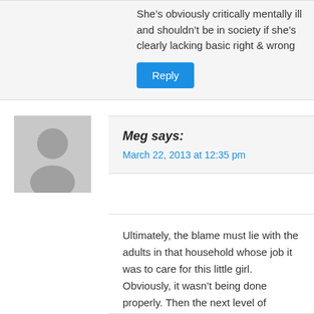She’s obviously critically mentally ill and shouldn’t be in society if she’s clearly lacking basic right & wrong
Reply
Meg says:
March 22, 2013 at 12:35 pm
Ultimately, the blame must lie with the adults in that household whose job it was to care for this little girl. Obviously, it wasn’t being done properly. Then the next level of intervention should have happened, and it didn’t. That being either CPS or the medical team stepping in on behalf of this child. That would’ve required them working in unison, which in reality probably just doesn’t happen. Everyone works within their little boxes and the bigger picture isn’t seen to keep innocent children from falling into the cracks. People (and our society for that matter) need to wake up to diabetes and realize what they are dealing with, and if they are incapable of following the medical prodicol necessary to